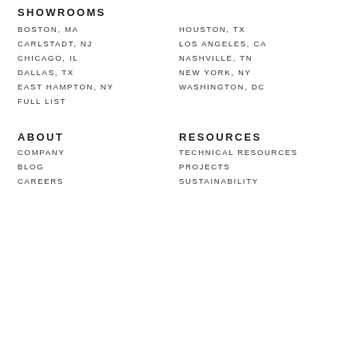SHOWROOMS
BOSTON, MA
HOUSTON, TX
CARLSTADT, NJ
LOS ANGELES, CA
CHICAGO, IL
NASHVILLE, TN
DALLAS, TX
NEW YORK, NY
EAST HAMPTON, NY
WASHINGTON, DC
FULL LIST
ABOUT
RESOURCES
COMPANY
TECHNICAL RESOURCES
BLOG
PROJECTS
CAREERS
SUSTAINABILITY